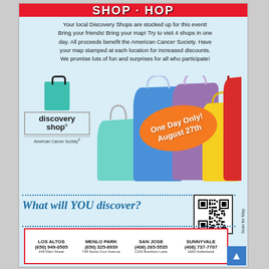Your local Discovery Shops are stocked up for this event! Bring your friends! Bring your map! Try to visit 4 shops in one day. All proceeds benefit the American Cancer Society. Have your map stamped at each location for increased discounts. We promise lots of fun and surprises for all who participate!
[Figure (illustration): Discovery Shop logo (teal shopping bag with handle, text reading 'discovery shop' with brackets, 'American Cancer Society' below) alongside colorful shopping bags (blue, purple, yellow, red, teal) with an orange oval overlay reading 'One Day Only! August 27th']
What will YOU discover?
[Figure (other): QR code for scanning a map, with vertical text 'Scan for Map']
| LOS ALTOS | MENLO PARK | SAN JOSE | SUNNYVALE |
| --- | --- | --- | --- |
| (650) 949-0505 | (650) 325-8939 | (408) 265-5535 | (408) 737-7707 |
| 243 Main Street | 748 Santa Cruz Avenue | 1103 Branham Lane | 1659 Hollenbeck |